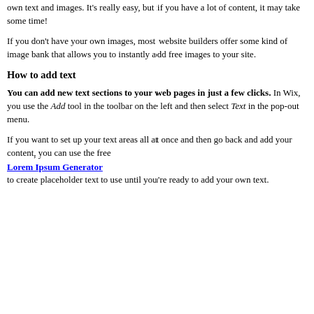own text and images. It’s really easy, but if you have a lot of content, it may take some time!
If you don’t have your own images, most website builders offer some kind of image bank that allows you to instantly add free images to your site.
How to add text
You can add new text sections to your web pages in just a few clicks. In Wix, you use the Add tool in the toolbar on the left and then select Text in the pop-out menu.
If you want to set up your text areas all at once and then go back and add your content, you can use the free Lorem Ipsum Generator to create placeholder text to use until you’re ready to add your own text.